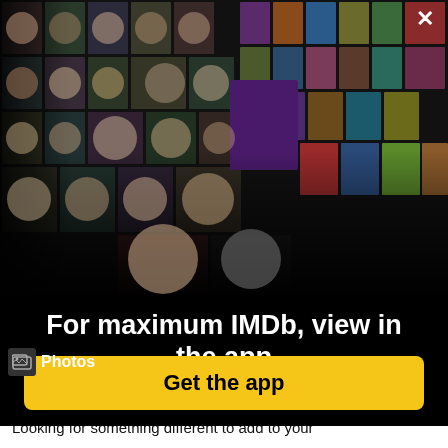[Figure (photo): IMDb app promotional modal overlay showing a collage of celebrity photos and movie/TV poster thumbnails arranged in a perspective grid on a dark background]
For maximum IMDb, view in the app
Get the app
[Figure (screenshot): Bottom strip showing HBO Max promotional banners for House of the Dragon, Industry, and another show, with a Photos icon overlay]
Looking for something different to add to your